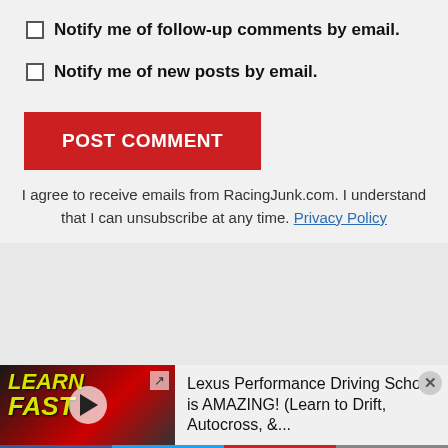Notify me of follow-up comments by email.
Notify me of new posts by email.
POST COMMENT
I agree to receive emails from RacingJunk.com. I understand that I can unsubscribe at any time. Privacy Policy
[Figure (screenshot): Gray advertisement placeholder area]
[Figure (screenshot): Video banner showing Lexus Performance Driving School video thumbnail with LEARN FAST text overlay and play button, title: Lexus Performance Driving School is AMAZING! (Learn to Drift, Autocross, &...]
[Figure (infographic): Social media share bar with Facebook, Twitter, Pinterest, and email icons]